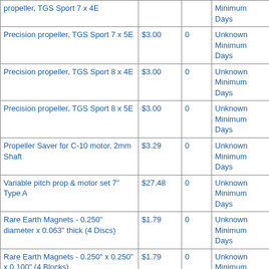| Product | Price | Qty | Availability |
| --- | --- | --- | --- |
| propeller, TGS Sport 7 x 4E |  |  | Minimum Days |
| Precision propeller, TGS Sport 7 x 5E | $3.00 | 0 | Unknown Minimum Days |
| Precision propeller, TGS Sport 8 x 4E | $3.00 | 0 | Unknown Minimum Days |
| Precision propeller, TGS Sport 8 x 5E | $3.00 | 0 | Unknown Minimum Days |
| Propeller Saver for C-10 motor, 2mm Shaft | $3.29 | 0 | Unknown Minimum Days |
| Variable pitch prop & motor set 7" Type A | $27.48 | 0 | Unknown Minimum Days |
| Rare Earth Magnets - 0.250" diameter x 0.063" thick (4 Discs) | $1.79 | 0 | Unknown Minimum Days |
| Rare Earth Magnets - 0.250" x 0.250" x 0.100" (4 Blocks) | $1.79 | 0 | Unknown Minimum Days |
| Rare Earth Magnets - 0.375" diameter x 0.125" thick (2 Discs) | $1.59 | 0 | Unknown Minimum Days |
| Rare Earth Magnets - 0.500" diameter x 0.100"... | $2.09 | 0 | Unknown Minimum... |